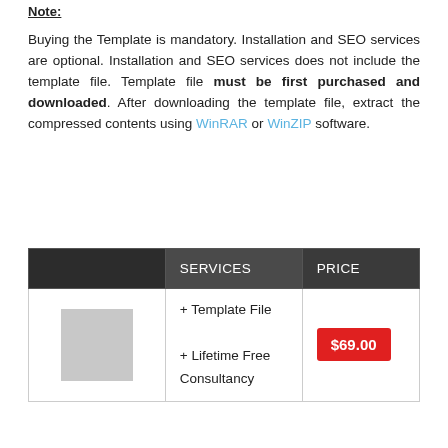Note:
Buying the Template is mandatory. Installation and SEO services are optional. Installation and SEO services does not include the template file. Template file must be first purchased and downloaded. After downloading the template file, extract the compressed contents using WinRAR or WinZIP software.
|  | SERVICES | PRICE |
| --- | --- | --- |
| [image] | + Template File
+ Lifetime Free Consultancy | $69.00 |